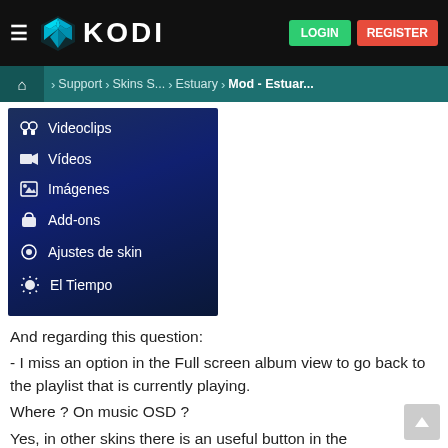KODI — LOGIN  REGISTER
Home > Support > Skins S... > Estuary > Mod - Estuar...
[Figure (screenshot): Kodi media center menu in Spanish showing items: Videoclips, Vídeos, Imágenes, Add-ons, Ajustes de skin, El Tiempo]
And regarding this question:
- I miss an option in the Full screen album view to go back to the playlist that is currently playing.
Where ? On music OSD ?
Yes, in other skins there is an useful button in the